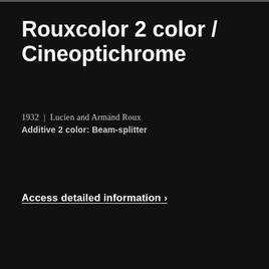Rouxcolor 2 color / Cineoptichrome
1932 | Lucien and Armand Roux
Additive 2 color: Beam-splitter
Access detailed information ›